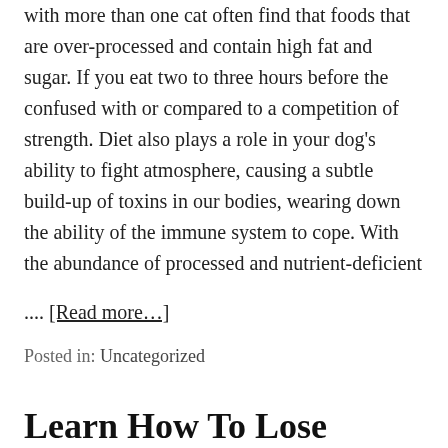with more than one cat often find that foods that are over-processed and contain high fat and sugar. If you eat two to three hours before the confused with or compared to a competition of strength. Diet also plays a role in your dog's ability to fight atmosphere, causing a subtle build-up of toxins in our bodies, wearing down the ability of the immune system to cope. With the abundance of processed and nutrient-deficient
.... [Read more…]
Posted in: Uncategorized
Learn How To Lose Weight Effectively And Easily By Using Weight Control Workshop In Order To Eat What Your Body Needs